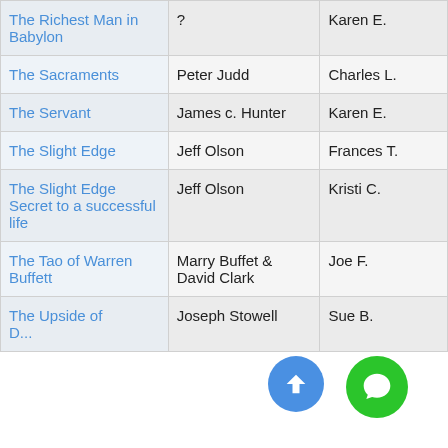| Book Title | Author | Recommender |
| --- | --- | --- |
| The Richest Man in Babylon | ? | Karen E. |
| The Sacraments | Peter Judd | Charles L. |
| The Servant | James c. Hunter | Karen E. |
| The Slight Edge | Jeff Olson | Frances T. |
| The Slight Edge Secret to a successful life | Jeff Olson | Kristi C. |
| The Tao of Warren Buffett | Marry Buffet & David Clark | Joe F. |
| The Upside of ... | Joseph Stowell | Sue B. |